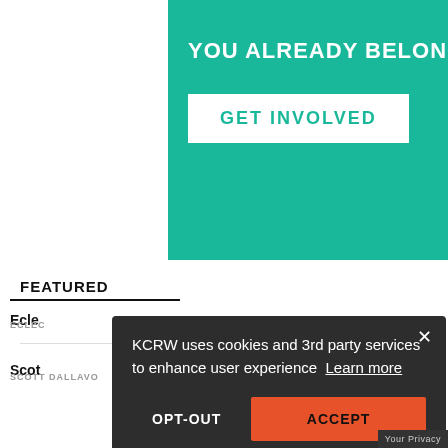[Figure (screenshot): Green KCRW promotional banner with white text 'YOU ALREADY BELONG' and a white button labeled 'GET INVOLVED']
FEATURED
Ecle
ECLEC
Scot
SCOTT DALLAVO
KCRW uses cookies and 3rd party services to enhance user experience  Learn more
OPT-OUT
ACCEPT
Your Privacy